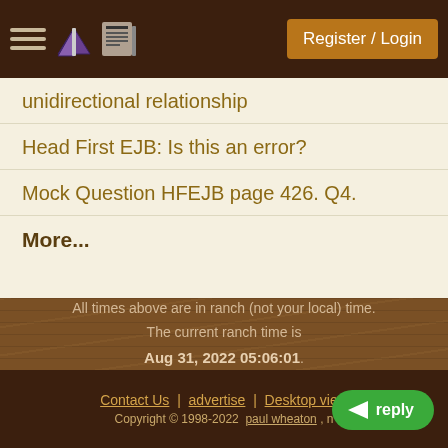Register / Login
unidirectional relationship
Head First EJB: Is this an error?
Mock Question HFEJB page 426. Q4.
More...
All times above are in ranch (not your local) time.
The current ranch time is
Aug 31, 2022 05:06:01.
Contact Us | advertise | Desktop view
Copyright © 1998-2022 paul wheaton , n…